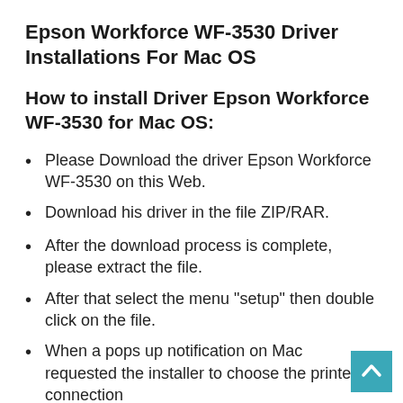Epson Workforce WF-3530 Driver Installations For Mac OS
How to install Driver Epson Workforce WF-3530 for Mac OS:
Please Download the driver Epson Workforce WF-3530 on this Web.
Download his driver in the file ZIP/RAR.
After the download process is complete, please extract the file.
After that select the menu "setup" then double click on the file.
When a pops up notification on Mac requested the installer to choose the printer connection